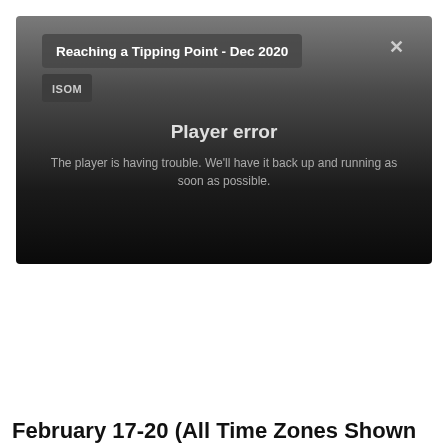[Figure (screenshot): Video player error screen with dark gradient background. Shows title 'Reaching a Tipping Point - Dec 2020' in a dark pill/badge, an 'ISOM' badge below it, an X close button in the top right, and centered text reading 'Player error' with subtext 'The player is having trouble. We'll have it back up and running as soon as possible.']
February 17-20 (All Time Zones Shown